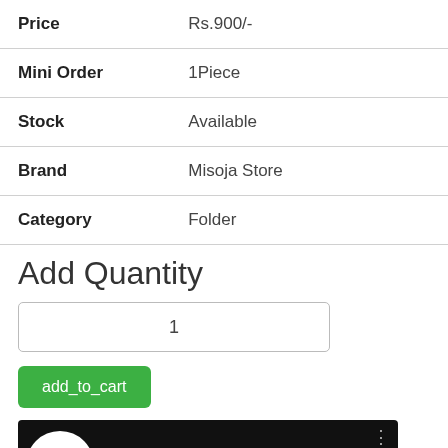| Field | Value |
| --- | --- |
| Price | Rs.900/- |
| Mini Order | 1Piece |
| Stock | Available |
| Brand | Misoja Store |
| Category | Folder |
Add Quantity
1
add_to_cart
[Figure (screenshot): YouTube video thumbnail showing Misoja Free Online E-... channel with pink M logo on white circle, dark background, and browser screenshot below]